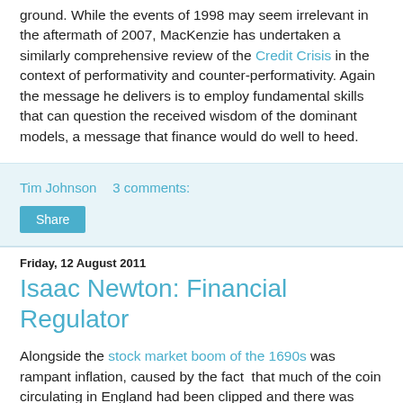ground. While the events of 1998 may seem irrelevant in the aftermath of 2007, MacKenzie has undertaken a similarly comprehensive review of the Credit Crisis in the context of performativity and counter-performativity. Again the message he delivers is to employ fundamental skills that can question the received wisdom of the dominant models, a message that finance would do well to heed.
Tim Johnson    3 comments:
Share
Friday, 12 August 2011
Isaac Newton: Financial Regulator
Alongside the stock market boom of the 1690s was rampant inflation, caused by the fact  that much of the coin circulating in England had been clipped and there was widespread counterfeiting. The inflation came about because, at the time, silver was an absolute measure of price. If English coins lost silver, more were needed to pay the foreigners.